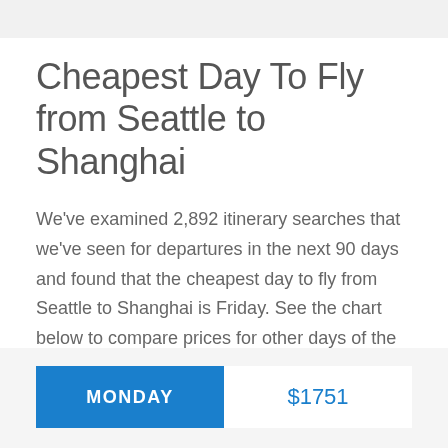Cheapest Day To Fly from Seattle to Shanghai
We've examined 2,892 itinerary searches that we've seen for departures in the next 90 days and found that the cheapest day to fly from Seattle to Shanghai is Friday. See the chart below to compare prices for other days of the week.
| Day | Price |
| --- | --- |
| MONDAY | $1751 |